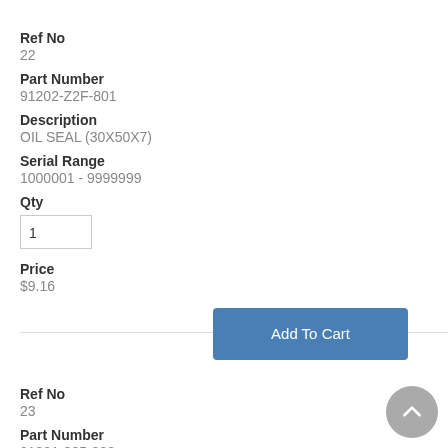Ref No
22
Part Number
91202-Z2F-801
Description
OIL SEAL (30X50X7)
Serial Range
1000001 - 9999999
Qty
1
Price
$9.16
Add To Cart
Ref No
23
Part Number
91301-805-000
Description
O-RING (36X2.7)